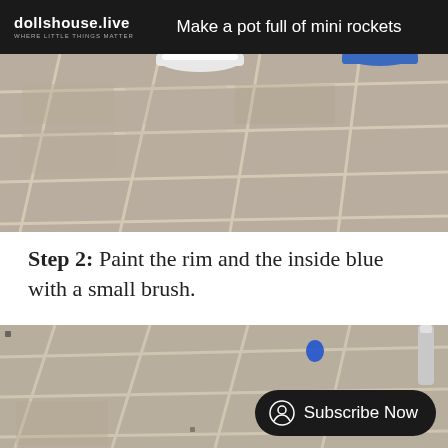dollshouse.live WHERE LITTLE THINGS MATTER — Make a pot full of mini rockets
[Figure (photo): Close-up photo of tiled floor with grout lines and the base of two small round white/blue pots or containers visible at the top.]
Step 2: Paint the rim and the inside blue with a small brush.
[Figure (photo): Close-up photo of tiled floor with grout lines, a blue paint drop visible, and a metal/silver brush handle at the top right. A 'Subscribe Now' button overlay is visible.]